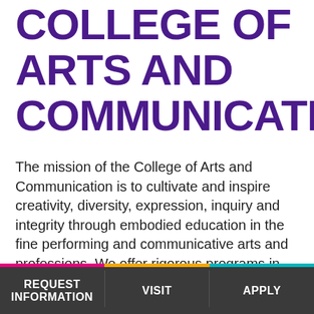COLLEGE OF ARTS AND COMMUNICATIO
The mission of the College of Arts and Communication is to cultivate and inspire creativity, diversity, expression, inquiry and integrity through embodied education in the fine performing and communicative arts and professions. We offer rigorous programs in music, theatre, dance, and the visual arts; internships, pre-professional opportunities in journalism, advertising, and applied communication, and innovative interdisciplinary studies.
REQUEST INFORMATION   VISIT   APPLY